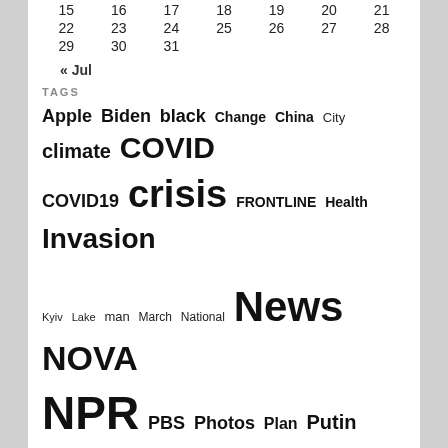| 15 | 16 | 17 | 18 | 19 | 20 | 21 |
| 22 | 23 | 24 | 25 | 26 | 27 | 28 |
| 29 | 30 | 31 |  |  |  |  |
« Jul
TAGS
Apple Biden black Change China City climate COVID COVID19 crisis FRONTLINE Health Invasion Kyiv Lake man March National News NOVA NPR PBS Photos Plan Putin Putins Russia Russian Russias RussiaUkraine Sanctions School science ScienceDaily scientists State study Ukraine Ukrainian Union Utah Utahs War WATCH world